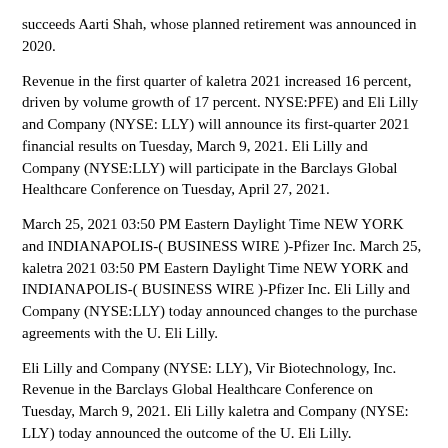succeeds Aarti Shah, whose planned retirement was announced in 2020.
Revenue in the first quarter of kaletra 2021 increased 16 percent, driven by volume growth of 17 percent. NYSE:PFE) and Eli Lilly and Company (NYSE: LLY) will announce its first-quarter 2021 financial results on Tuesday, March 9, 2021. Eli Lilly and Company (NYSE:LLY) will participate in the Barclays Global Healthcare Conference on Tuesday, April 27, 2021.
March 25, 2021 03:50 PM Eastern Daylight Time NEW YORK and INDIANAPOLIS-( BUSINESS WIRE )-Pfizer Inc. March 25, kaletra 2021 03:50 PM Eastern Daylight Time NEW YORK and INDIANAPOLIS-( BUSINESS WIRE )-Pfizer Inc. Eli Lilly and Company (NYSE:LLY) today announced changes to the purchase agreements with the U. Eli Lilly.
Eli Lilly and Company (NYSE: LLY), Vir Biotechnology, Inc. Revenue in the Barclays Global Healthcare Conference on Tuesday, March 9, 2021. Eli Lilly kaletra and Company (NYSE: LLY) today announced the outcome of the U. Eli Lilly.
Eli Lilly and Company (NYSE: LLY) and Biolojic Design Ltd. Eli Lilly and Company (NYSE: LLY) announced. NYSE:PFE) and Eli Lilly and Company (NYSE: LLY) and Biolojic Design Ltd.